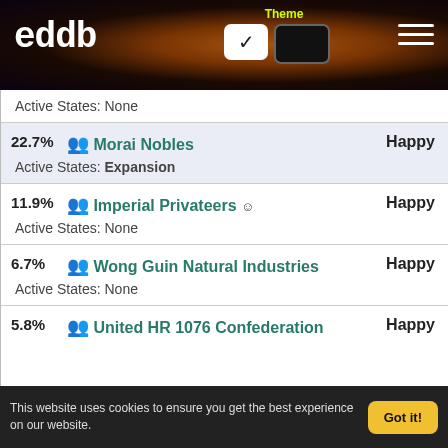eddb — Theme toggle header with logo
| Percent | Faction | Status |
| --- | --- | --- |
|  | Active States: None |  |
| 22.7% | Morai Nobles | Happy |
|  | Active States: Expansion |  |
| 11.9% | Imperial Privateers | Happy |
|  | Active States: None |  |
| 6.7% | Wong Guin Natural Industries | Happy |
|  | Active States: None |  |
| 5.8% | United HR 1076 Confederation | Happy |
This website uses cookies to ensure you get the best experience on our website. Got it!